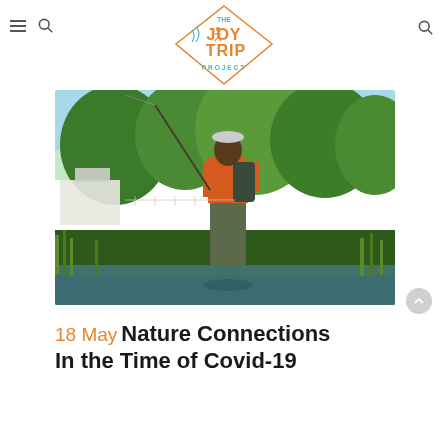[Figure (logo): The Joy Trip Project logo — diamond shape with orange 'JOY TRIP' text and blue 'THE' and 'PROJECT' text, with stylized figure and radio waves]
[Figure (photo): A person in waders and an orange shirt holding a fly fishing rod, standing near a river with lush green trees and a white building in the background]
18 May Nature Connections In the Time of Covid-19